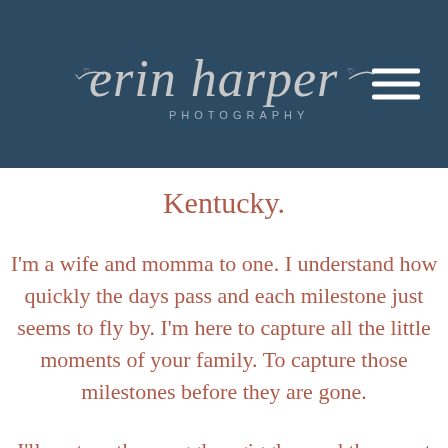[Figure (logo): Erin Harper Photography script logo in silver/white on dark navy blue header background, with hamburger menu icon in top right corner]
Kentucky.
I'm a wife and momma to one. I understand how quickly the days pass and each milestone just seems to fly by. I'm here to capture all the little moments of your family. To capture those milestones before they are gone.
I'll capture the snuggles, giggles, and the sweet looks your little one gives you.